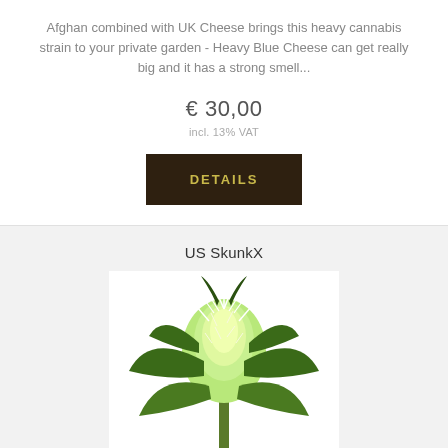Afghan combined with UK Cheese brings this heavy cannabis strain to your private garden - Heavy Blue Cheese can get really big and it has a strong smell...
€ 30,00
incl. 13% VAT
DETAILS
US SkunkX
[Figure (photo): Close-up photo of a cannabis plant bud (US SkunkX strain) with green leaves and white trichomes against a white background]